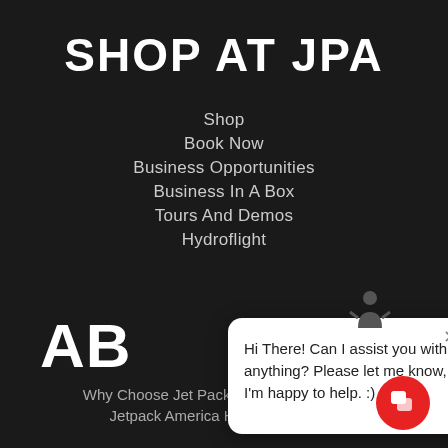SHOP AT JPA
Shop
Book Now
Business Opportunities
Business In A Box
Tours And Demos
Hydroflight
AB
[Figure (screenshot): Chat popup overlay with avatar icon and message: Hi There! Can I assist you with anything? Please let me know, I'm happy to help. :)]
Why Choose Jet Pack America?
Jetpack America History